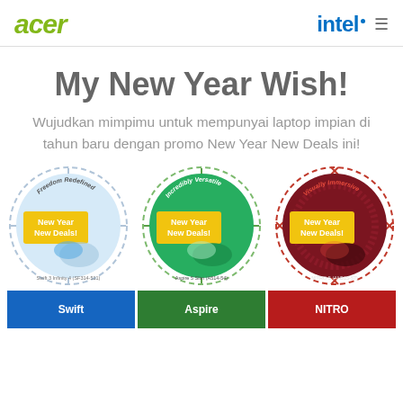acer | intel
My New Year Wish!
Wujudkan mimpimu untuk mempunyai laptop impian di tahun baru dengan promo New Year New Deals ini!
[Figure (illustration): Three circular product badge icons for Acer laptops: (1) light blue circle - Swift 3 Infinity 4 with 'Freedom Redefined, New Year New Deals!' text; (2) green circle - Aspire 5 Slim with 'Incredibly Versatile, New Year New Deals!' text; (3) dark red circle - Nitro 5 with 'Visually Immersive, New Year New Deals!' text]
[Figure (illustration): Three colored bottom banners: blue, green, red with partially visible text]